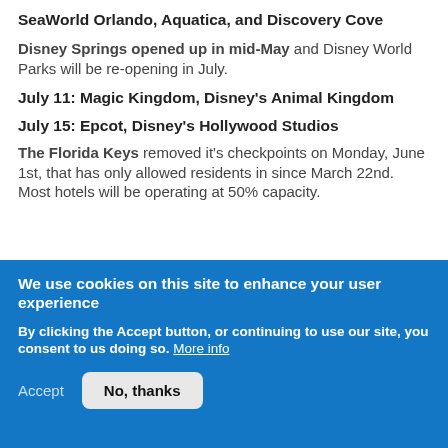SeaWorld Orlando, Aquatica, and Discovery Cove
Disney Springs opened up in mid-May and Disney World Parks will be re-opening in July.
July 11: Magic Kingdom, Disney's Animal Kingdom
July 15: Epcot, Disney's Hollywood Studios
The Florida Keys removed it's checkpoints on Monday, June 1st, that has only allowed residents in since March 22nd. Most hotels will be operating at 50% capacity.
We use cookies on this site to enhance your user experience
By clicking the Accept button, or continuing to use our site, you consent to us doing so. More info
Accept
No, thanks